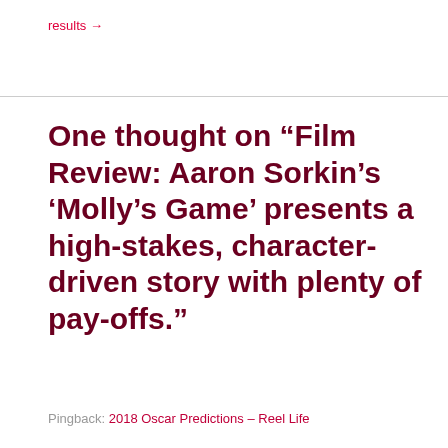results →
One thought on “Film Review: Aaron Sorkin’s ‘Molly’s Game’ presents a high-stakes, character-driven story with plenty of pay-offs.”
Pingback: 2018 Oscar Predictions – Reel Life